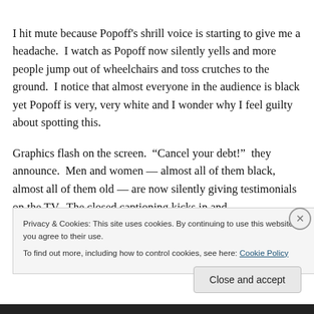I hit mute because Popoff's shrill voice is starting to give me a headache.  I watch as Popoff now silently yells and more people jump out of wheelchairs and toss crutches to the ground.  I notice that almost everyone in the audience is black yet Popoff is very, very white and I wonder why I feel guilty about spotting this.
Graphics flash on the screen.  “Cancel your debt!”  they announce.  Men and women — almost all of them black, almost all of them old — are now silently giving testimonials on the TV.  The closed captioning kicks in and
Privacy & Cookies: This site uses cookies. By continuing to use this website, you agree to their use.
To find out more, including how to control cookies, see here: Cookie Policy
Close and accept